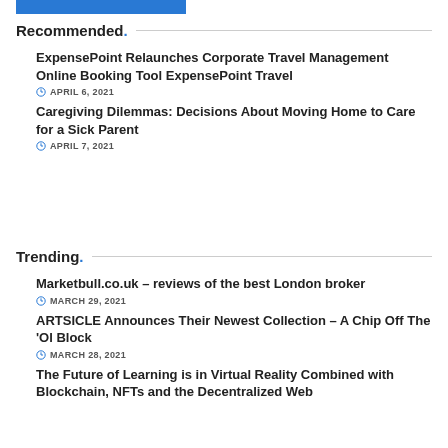[Figure (other): Blue horizontal bar at top left]
Recommended.
ExpensePoint Relaunches Corporate Travel Management Online Booking Tool ExpensePoint Travel
APRIL 6, 2021
Caregiving Dilemmas: Decisions About Moving Home to Care for a Sick Parent
APRIL 7, 2021
Trending.
Marketbull.co.uk – reviews of the best London broker
MARCH 29, 2021
ARTSICLE Announces Their Newest Collection – A Chip Off The 'Ol Block
MARCH 28, 2021
The Future of Learning is in Virtual Reality Combined with Blockchain, NFTs and the Decentralized Web